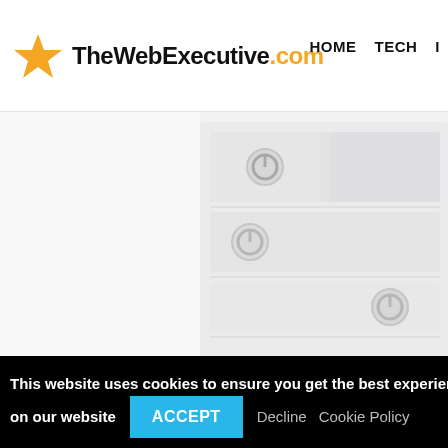TheWebExecutive.com — HOME  TECH  I
[Figure (photo): Blurred close-up photograph of white server rack hardware with power button icons visible on the units]
2014.02.15. Miami at VT. virginiatech hokies basketball
This website uses cookies to ensure you get the best experience on our website  ACCEPT  Decline  Cookie Policy